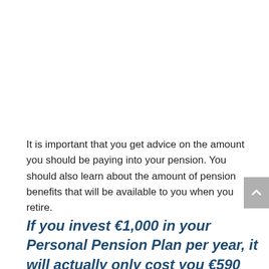It is important that you get advice on the amount you should be paying into your pension. You should also learn about the amount of pension benefits that will be available to you when you retire.
If you invest €1,000 in your Personal Pension Plan per year, it will actually only cost you €590